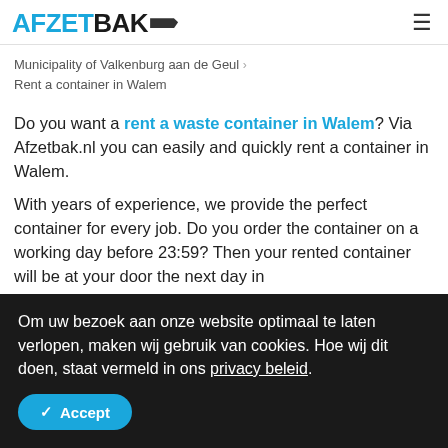AFZETBAK
Municipality of Valkenburg aan de Geul > Rent a container in Walem
Do you want a rent a waste container in Walem? Via Afzetbak.nl you can easily and quickly rent a container in Walem.
With years of experience, we provide the perfect container for every job. Do you order the container on a working day before 23:59? Then your rented container will be at your door the next day in
Om uw bezoek aan onze website optimaal te laten verlopen, maken wij gebruik van cookies. Hoe wij dit doen, staat vermeld in ons privacy beleid.